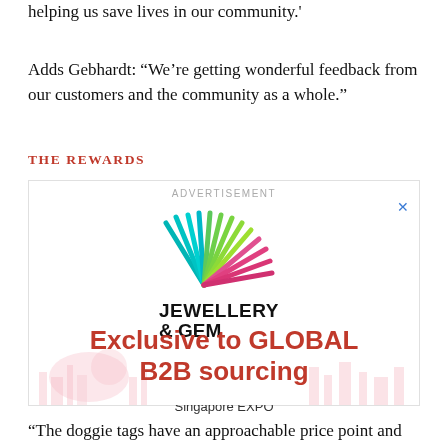helping us save lives in our community.'
Adds Gebhardt: “We’re getting wonderful feedback from our customers and the community as a whole.”
THE REWARDS
[Figure (logo): Jewellery & Gem World Singapore advertisement. Logo with colorful rays (teal, green, pink), text: JEWELLERY & GEM WORLD SINGAPORE, 27 – 30 / 9 / 2022, Singapore EXPO, Exclusive to GLOBAL B2B sourcing]
“The doggie tags have an approachable price point and